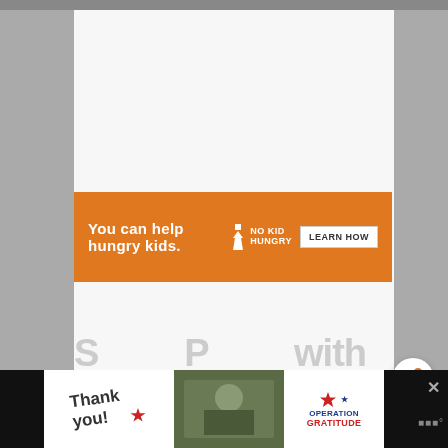[Figure (screenshot): White/light gray page area with an orange charity advertisement banner reading 'You can help hungry kids.' with No Kid Hungry logo and 'LEARN HOW' button. Below the page area there is partial large gray text. At the very bottom is a black strip containing a 'Thank you' ad for Operation Gratitude with military imagery.]